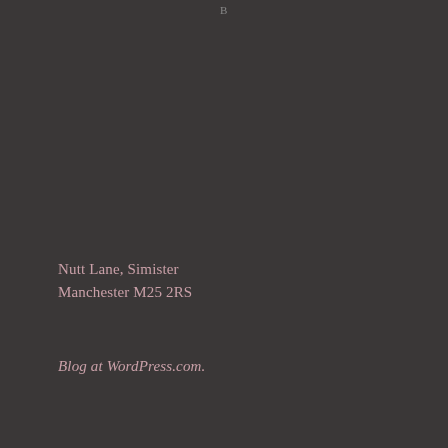B
Nutt Lane, Simister
Manchester M25 2RS
Blog at WordPress.com.